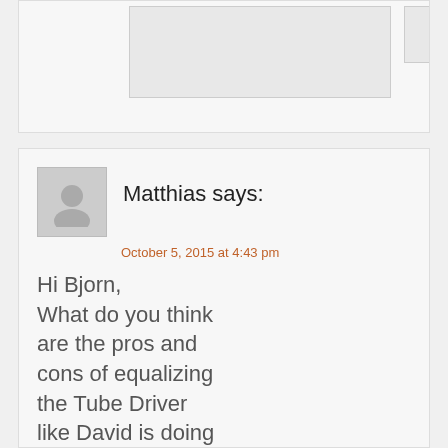[Figure (other): Partial view of a previous comment box with image thumbnails visible at top of page]
Matthias says:
October 5, 2015 at 4:43 pm
Hi Bjorn, What do you think are the pros and cons of equalizing the Tube Driver like David is doing and boosting it with a boost pedal? What pedal are you using to boost your TD? Should it rather be a transparent